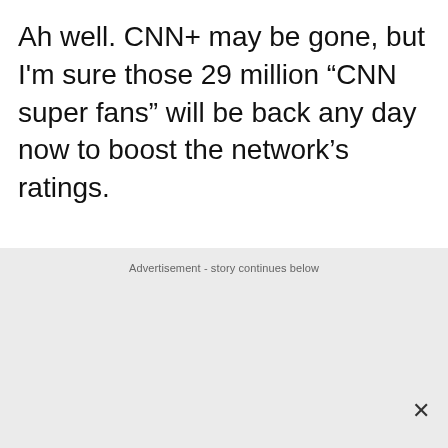Ah well. CNN+ may be gone, but I'm sure those 29 million “CNN super fans” will be back any day now to boost the network’s ratings.
Advertisement - story continues below